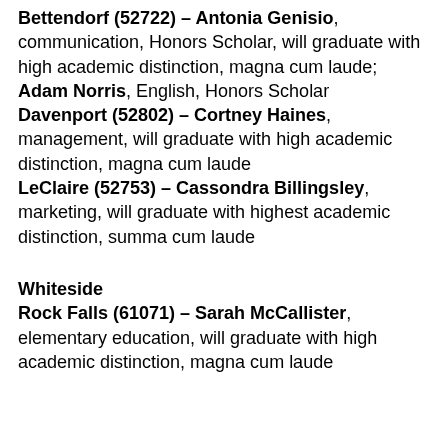Bettendorf (52722) – Antonia Genisio, communication, Honors Scholar, will graduate with high academic distinction, magna cum laude; Adam Norris, English, Honors Scholar
Davenport (52802) – Cortney Haines, management, will graduate with high academic distinction, magna cum laude
LeClaire (52753) – Cassondra Billingsley, marketing, will graduate with highest academic distinction, summa cum laude
Whiteside
Rock Falls (61071) – Sarah McCallister, elementary education, will graduate with high academic distinction, magna cum laude
Michigan
Eaton